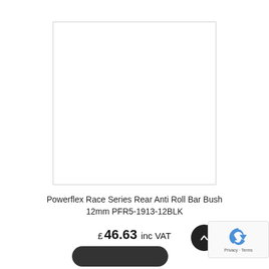[Figure (photo): White/blank product image placeholder with light gray border]
Powerflex Race Series Rear Anti Roll Bar Bush 12mm PFR5-1913-12BLK
£ 46.63 inc VAT